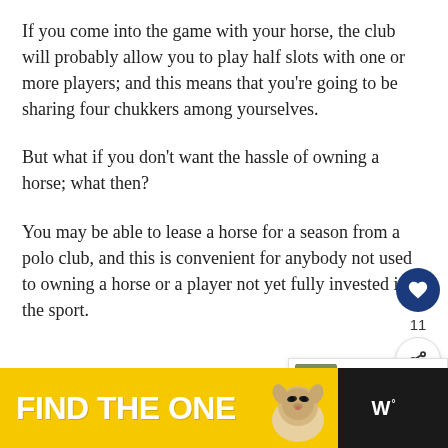If you come into the game with your horse, the club will probably allow you to play half slots with one or more players; and this means that you're going to be sharing four chukkers among yourselves.
But what if you don't want the hassle of owning a horse; what then?
You may be able to lease a horse for a season from a polo club, and this is convenient for anybody not used to owning a horse or a player not yet fully invested in the sport.
[Figure (infographic): Social interaction bar with heart/like button (navy circle with heart icon), like count 11, and share button]
[Figure (infographic): What's Next widget showing a polo sport thumbnail image and text: 'WHAT'S NEXT → Is Polo A Cruel Sport? 5 Fac...']
[Figure (infographic): Advertisement banner: yellow background with bold white text 'FIND THE ONE' and a dog photo, with dark right panel showing a logo with degree symbol]